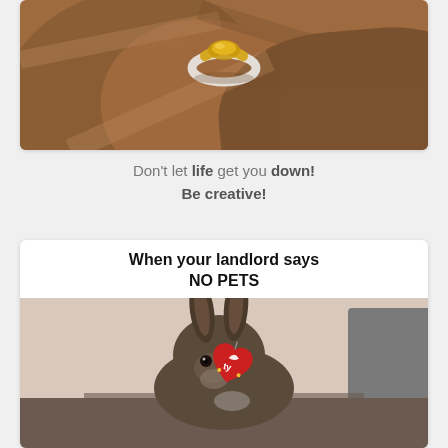[Figure (photo): Close-up photo of a gold and silver ring resting on brown leather fabric with folds]
Don't let life get you down! Be creative!
[Figure (photo): Meme card: a real rabbit/bunny with a Ty Beanie Baby tag clipped to its ear, sitting on a dark surface with a light wall behind it. Text above reads 'When your landlord says NO PETS']